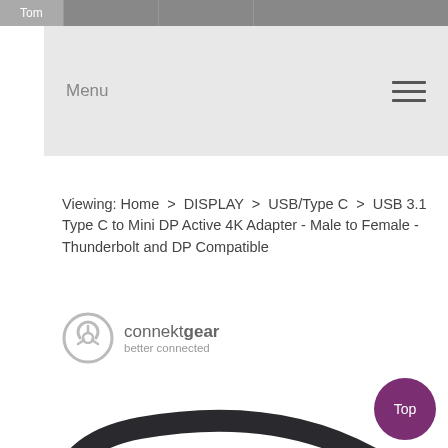Tom
Menu
Viewing: Home > DISPLAY > USB/Type C > USB 3.1 Type C to Mini DP Active 4K Adapter - Male to Female - Thunderbolt and DP Compatible
[Figure (logo): connektgear logo with circular icon and tagline 'better connected']
[Figure (photo): USB 3.1 Type C to Mini DP Active 4K Adapter cable product photo showing black cable with connectors on both ends]